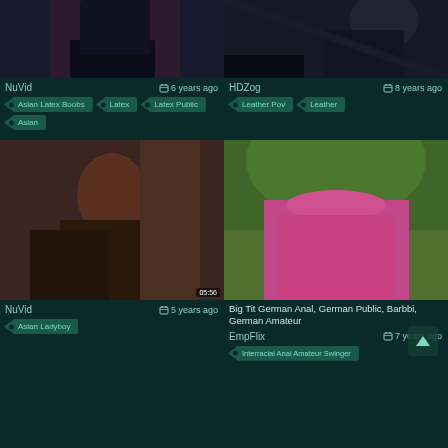[Figure (screenshot): Top-left video thumbnail showing person in black latex outfit]
[Figure (screenshot): Top-right video thumbnail showing person in black fishnet stockings]
NuVid
6 years ago
HDZog
8 years ago
Asian Latex Boobs
Latex
Leather Pov
Leather
Latex Public
Asian
[Figure (screenshot): Bottom-left video thumbnail showing young woman in open shirt, timestamp 05:56]
[Figure (screenshot): Bottom-right video thumbnail showing person in pink shorts outdoors]
NuVid
5 years ago
Big Tit German Anal, German Public, Barbbi, German Amateur
EmpFlix
7 years ago
Asian Ladyboy
Interracial Anal Amateur Swinger